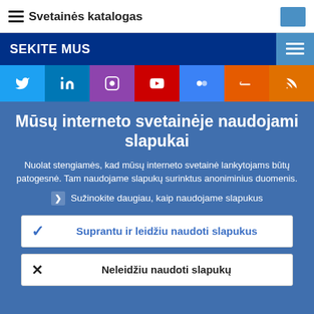Svetainės katalogas
SEKITE MUS
[Figure (screenshot): Social media icons row: Twitter, LinkedIn, Instagram, YouTube, Flickr, SoundCloud, RSS]
Mūsų interneto svetainėje naudojami slapukai
Nuolat stengiamės, kad mūsų interneto svetainė lankytojams būtų patogesnė. Tam naudojame slapukų surinktus anoniminius duomenis.
Sužinokite daugiau, kaip naudojame slapukus
Suprantu ir leidžiu naudoti slapukus
Neleidžiu naudoti slapukų